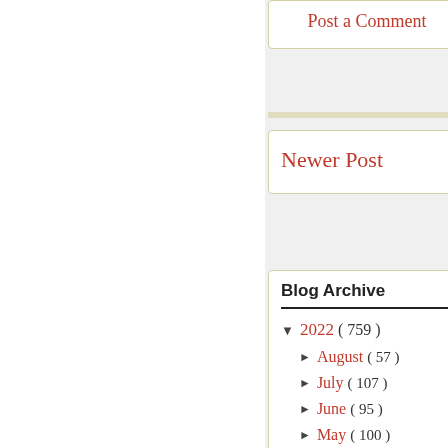Post a Comment
Newer Post
Blog Archive
▼ 2022 ( 759 )
► August ( 57 )
► July ( 107 )
► June ( 95 )
► May ( 100 )
► April ( 100 )
► March ( 107 )